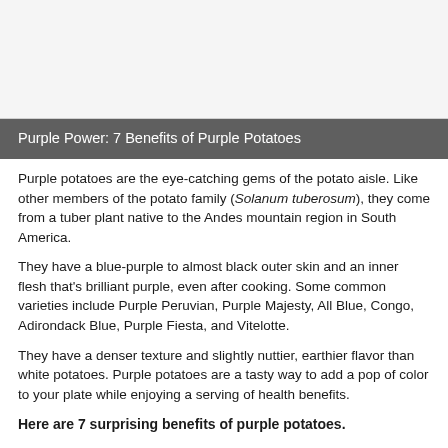[Figure (photo): Image placeholder area at the top of the page, light gray background]
Purple Power: 7 Benefits of Purple Potatoes
Purple potatoes are the eye-catching gems of the potato aisle. Like other members of the potato family (Solanum tuberosum), they come from a tuber plant native to the Andes mountain region in South America.
They have a blue-purple to almost black outer skin and an inner flesh that's brilliant purple, even after cooking. Some common varieties include Purple Peruvian, Purple Majesty, All Blue, Congo, Adirondack Blue, Purple Fiesta, and Vitelotte.
They have a denser texture and slightly nuttier, earthier flavor than white potatoes. Purple potatoes are a tasty way to add a pop of color to your plate while enjoying a serving of health benefits.
Here are 7 surprising benefits of purple potatoes.